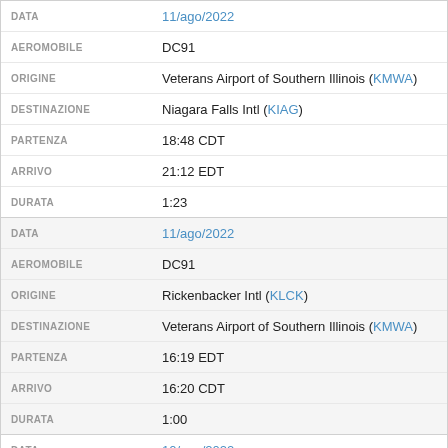| Field | Value |
| --- | --- |
| DATA | 11/ago/2022 |
| AEROMOBILE | DC91 |
| ORIGINE | Veterans Airport of Southern Illinois (KMWA) |
| DESTINAZIONE | Niagara Falls Intl (KIAG) |
| PARTENZA | 18:48 CDT |
| ARRIVO | 21:12 EDT |
| DURATA | 1:23 |
| Field | Value |
| --- | --- |
| DATA | 11/ago/2022 |
| AEROMOBILE | DC91 |
| ORIGINE | Rickenbacker Intl (KLCK) |
| DESTINAZIONE | Veterans Airport of Southern Illinois (KMWA) |
| PARTENZA | 16:19 EDT |
| ARRIVO | 16:20 CDT |
| DURATA | 1:00 |
| Field | Value |
| --- | --- |
| DATA | 10/ago/2022 |
| AEROMOBILE | DC91 |
| ORIGINE | Donaldson Field (KGYH) |
| DESTINAZIONE | Rickenbacker Intl (KLCK) |
| PARTENZA | 17:55 EDT |
| ARRIVO | 18:56 EDT |